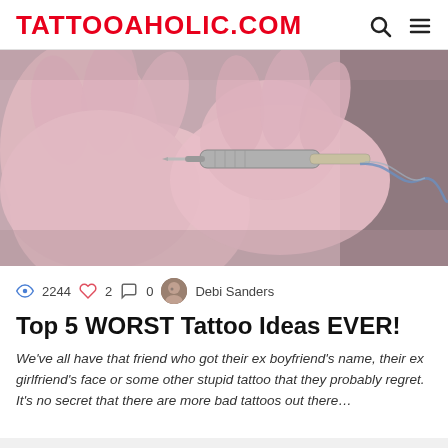TATTOOAHOLIC.COM
[Figure (photo): Close-up photo of gloved hands (pink latex gloves) holding a tattoo machine needle, with tattoo equipment visible in the background.]
👁 2244  ♡ 2  💬 0  Debi Sanders
Top 5 WORST Tattoo Ideas EVER!
We've all have that friend who got their ex boyfriend's name, their ex girlfriend's face or some other stupid tattoo that they probably regret. It's no secret that there are more bad tattoos out there…